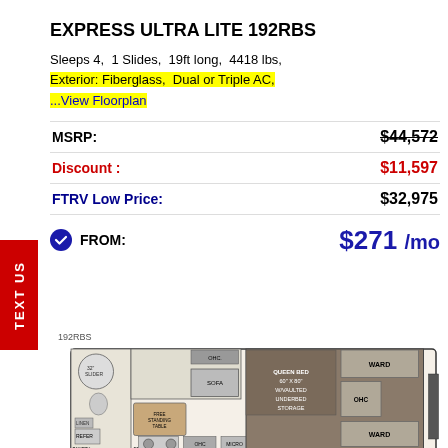EXPRESS ULTRA LITE 192RBS
Sleeps 4,  1 Slides,  19ft long,  4418 lbs,  Exterior: Fiberglass,  Dual or Triple AC,  ...View Floorplan
|  |  |
| --- | --- |
| MSRP: | $44,572 |
| Discount : | $11,597 |
| FTRV Low Price: | $32,975 |
FROM: $271 /mo
[Figure (engineering-diagram): RV floorplan diagram for the Freedom Express 192RBS showing layout including queen bed 60" x 80" w/vaulted underbed storage, OHC, wardrobe (WARD), sofa, OHC, free standing table, refer, pantry, entry, micro, pass thru storage areas, and 32" TV slide.]